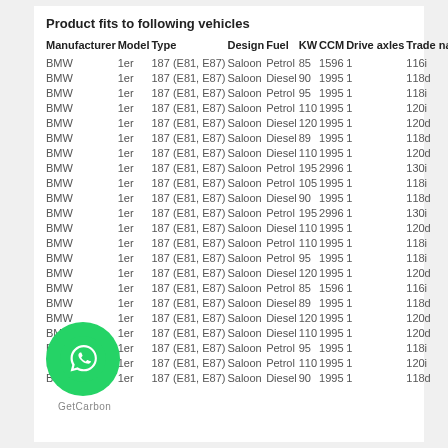Product fits to following vehicles
| Manufacturer | Model | Type | Design | Fuel | KW | CCM | Drive axles | Trade name |
| --- | --- | --- | --- | --- | --- | --- | --- | --- |
| BMW | 1er | 187 (E81, E87) | Saloon | Petrol | 85 | 1596 | 1 | 116i |
| BMW | 1er | 187 (E81, E87) | Saloon | Diesel | 90 | 1995 | 1 | 118d |
| BMW | 1er | 187 (E81, E87) | Saloon | Petrol | 95 | 1995 | 1 | 118i |
| BMW | 1er | 187 (E81, E87) | Saloon | Petrol | 110 | 1995 | 1 | 120i |
| BMW | 1er | 187 (E81, E87) | Saloon | Diesel | 120 | 1995 | 1 | 120d |
| BMW | 1er | 187 (E81, E87) | Saloon | Diesel | 89 | 1995 | 1 | 118d |
| BMW | 1er | 187 (E81, E87) | Saloon | Diesel | 110 | 1995 | 1 | 120d |
| BMW | 1er | 187 (E81, E87) | Saloon | Petrol | 195 | 2996 | 1 | 130i |
| BMW | 1er | 187 (E81, E87) | Saloon | Petrol | 105 | 1995 | 1 | 118i |
| BMW | 1er | 187 (E81, E87) | Saloon | Diesel | 90 | 1995 | 1 | 118d |
| BMW | 1er | 187 (E81, E87) | Saloon | Petrol | 195 | 2996 | 1 | 130i |
| BMW | 1er | 187 (E81, E87) | Saloon | Diesel | 110 | 1995 | 1 | 120d |
| BMW | 1er | 187 (E81, E87) | Saloon | Petrol | 110 | 1995 | 1 | 118i |
| BMW | 1er | 187 (E81, E87) | Saloon | Petrol | 95 | 1995 | 1 | 118i |
| BMW | 1er | 187 (E81, E87) | Saloon | Diesel | 120 | 1995 | 1 | 120d |
| BMW | 1er | 187 (E81, E87) | Saloon | Petrol | 85 | 1596 | 1 | 116i |
| BMW | 1er | 187 (E81, E87) | Saloon | Diesel | 89 | 1995 | 1 | 118d |
| BMW | 1er | 187 (E81, E87) | Saloon | Diesel | 120 | 1995 | 1 | 120d |
| BMW | 1er | 187 (E81, E87) | Saloon | Diesel | 110 | 1995 | 1 | 120d |
| BMW | 1er | 187 (E81, E87) | Saloon | Petrol | 95 | 1995 | 1 | 118i |
| BMW | 1er | 187 (E81, E87) | Saloon | Petrol | 110 | 1995 | 1 | 120i |
| BMW | 1er | 187 (E81, E87) | Saloon | Diesel | 90 | 1995 | 1 | 118d |